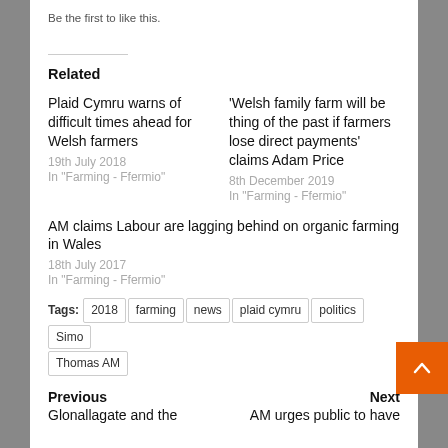Be the first to like this.
Related
Plaid Cymru warns of difficult times ahead for Welsh farmers
19th July 2018
In "Farming - Ffermio"
'Welsh family farm will be thing of the past if farmers lose direct payments' claims Adam Price
8th December 2019
In "Farming - Ffermio"
AM claims Labour are lagging behind on organic farming in Wales
18th July 2017
In "Farming - Ffermio"
Tags: 2018  farming  news  plaid cymru  politics  Simon Thomas AM
Previous
Glonallagate and the
Next
AM urges public to have